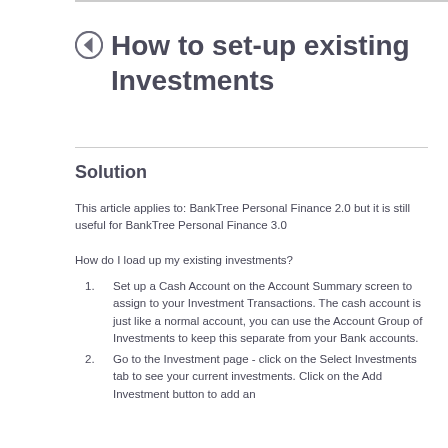How to set-up existing Investments
Solution
This article applies to: BankTree Personal Finance 2.0 but it is still useful for BankTree Personal Finance 3.0
How do I load up my existing investments?
Set up a Cash Account on the Account Summary screen to assign to your Investment Transactions. The cash account is just like a normal account, you can use the Account Group of Investments to keep this separate from your Bank accounts.
Go to the Investment page - click on the Select Investments tab to see your current investments. Click on the Add Investment button to add an